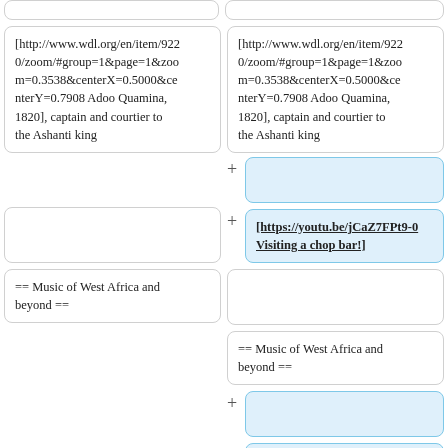[http://www.wdl.org/en/item/9220/zoom/#group=1&page=1&zoom=0.3538&centerX=0.5000&centerY=0.7908 Adoo Quamina, 1820], captain and courtier to the Ashanti king
[http://www.wdl.org/en/item/9220/zoom/#group=1&page=1&zoom=0.3538&centerX=0.5000&centerY=0.7908 Adoo Quamina, 1820], captain and courtier to the Ashanti king
[https://youtu.be/jCaZ7FPt9-0 Visiting a chop bar!]
== Music of West Africa and beyond ==
== Music of West Africa and beyond ==
[[Ewe music available online]]